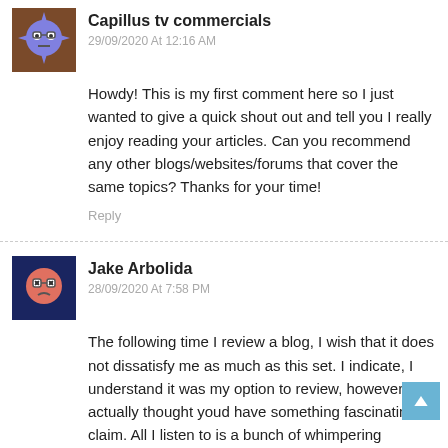Capillus tv commercials
29/09/2020 At 12:16 AM
Howdy! This is my first comment here so I just wanted to give a quick shout out and tell you I really enjoy reading your articles. Can you recommend any other blogs/websites/forums that cover the same topics? Thanks for your time!
Reply
Jake Arbolida
28/09/2020 At 7:58 PM
The following time I review a blog, I wish that it does not dissatisfy me as much as this set. I indicate, I understand it was my option to review, however I actually thought youd have something fascinating to claim. All I listen to is a bunch of whimpering concerning something that you could deal with if you werent as well active trying to find attention.
Reply